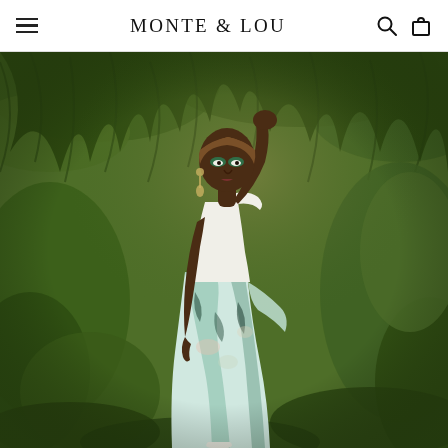MONTE & LOU
[Figure (photo): A woman wearing a white one-shoulder bodysuit and a floral tropical-print wrap skirt with a high slit, posing in a lush indoor garden setting filled with hanging greenery and tropical plants. She has vibrant green eyeshadow and a headband.]